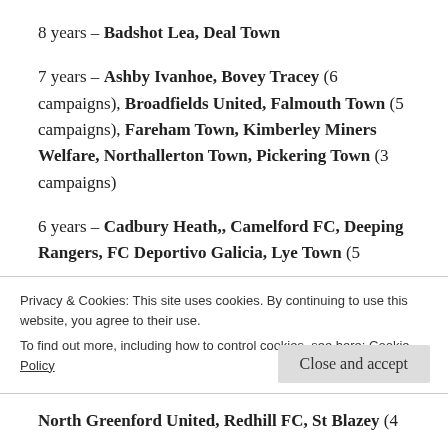8 years – Badshot Lea, Deal Town
7 years – Ashby Ivanhoe, Bovey Tracey (6 campaigns), Broadfields United, Falmouth Town (5 campaigns), Fareham Town, Kimberley Miners Welfare, Northallerton Town, Pickering Town (3 campaigns)
6 years – Cadbury Heath,, Camelford FC, Deeping Rangers, FC Deportivo Galicia, Lye Town (5 campaigns),
Privacy & Cookies: This site uses cookies. By continuing to use this website, you agree to their use. To find out more, including how to control cookies, see here: Cookie Policy
North Greenford United, Redhill FC, St Blazey (4